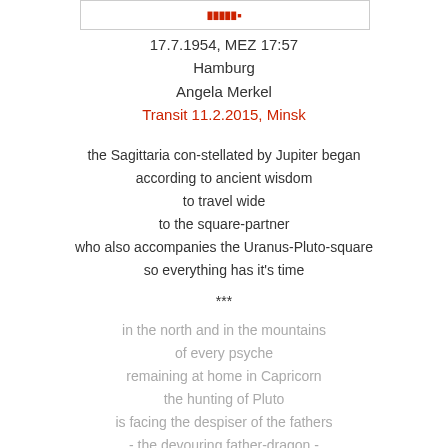[Figure (other): Small decorative header image with red text]
17.7.1954, MEZ 17:57
Hamburg
Angela Merkel
Transit 11.2.2015, Minsk
the Sagittaria con-stellated by Jupiter began according to ancient wisdom to travel wide to the square-partner who also accompanies the Uranus-Pluto-square so everything has it's time
***
in the north and in the mountains of every psyche remaining at home in Capricorn the hunting of Pluto is facing the despiser of the fathers - the devouring father-dragon - under the banner of St. George